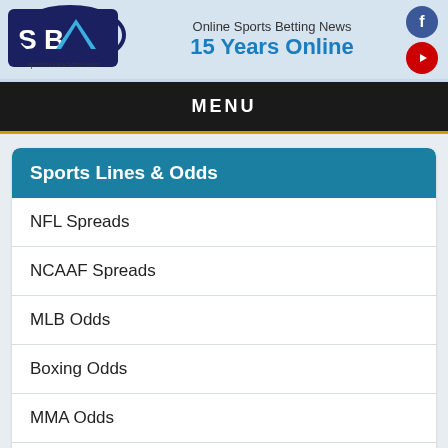[Figure (logo): SBA sportsbookadvisor.com logo with navy blue background, SBA letters and triangle shape]
Online Sports Betting News
15 Years Online
[Figure (logo): Facebook and YouTube social media icons]
MENU
Sports Lines & Odds
NFL Spreads
NCAAF Spreads
MLB Odds
Boxing Odds
MMA Odds
Soccer Odds